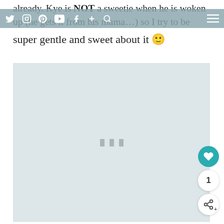already. Kye is NOT a sweetie when he is woken up (he gets it from his mama…) so I try to be super gentle and sweet about it 🙂
[navigation bar with social media icons: Twitter, Instagram, Pinterest, YouTube, Facebook, Plus, Search, and hamburger menu]
[Figure (photo): Large light blue-gray placeholder image area with three small gray loading indicator bars in the center]
1